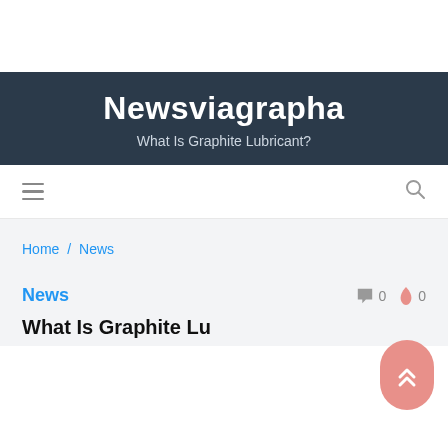Newsviagrapha
What Is Graphite Lubricant?
[Figure (other): Navigation bar with hamburger menu icon on the left and search icon on the right]
Home / News
News
What Is Graphite Lubricant?